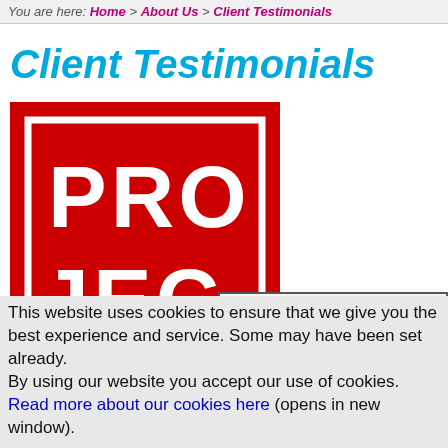You are here: Home > About Us > Client Testimonials
Client Testimonials
[Figure (logo): Red square logo with white border and white text reading PRO JEC]
Click here to agree [x]
This website uses cookies to ensure that we give you the best experience and service. Some may have been set already.
By using our website you accept our use of cookies. Read more about our cookies here (opens in new window).